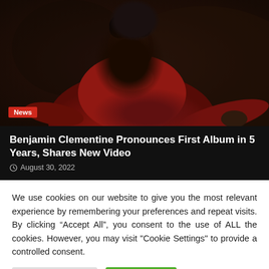[Figure (photo): Person wearing a red turtleneck sweater against a dark background, looking slightly to the side]
News
Benjamin Clementine Pronounces First Album in 5 Years, Shares New Video
August 30, 2022
We use cookies on our website to give you the most relevant experience by remembering your preferences and repeat visits. By clicking “Accept All”, you consent to the use of ALL the cookies. However, you may visit "Cookie Settings" to provide a controlled consent.
Cookie Settings
Accept All